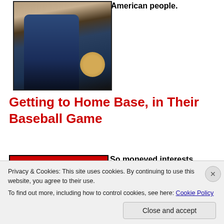American people.
[Figure (photo): A person in a dark suit and bow tie seated in what appears to be an elegant interior setting]
Getting to Home Base, in Their Baseball Game
So moneved interests
Privacy & Cookies: This site uses cookies. By continuing to use this website, you agree to their use.
To find out more, including how to control cookies, see here: Cookie Policy
Close and accept